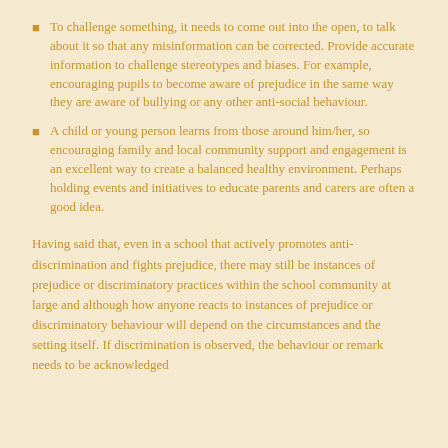To challenge something, it needs to come out into the open, to talk about it so that any misinformation can be corrected. Provide accurate information to challenge stereotypes and biases. For example, encouraging pupils to become aware of prejudice in the same way they are aware of bullying or any other anti-social behaviour.
A child or young person learns from those around him/her, so encouraging family and local community support and engagement is an excellent way to create a balanced healthy environment. Perhaps holding events and initiatives to educate parents and carers are often a good idea.
Having said that, even in a school that actively promotes anti-discrimination and fights prejudice, there may still be instances of prejudice or discriminatory practices within the school community at large and although how anyone reacts to instances of prejudice or discriminatory behaviour will depend on the circumstances and the setting itself. If discrimination is observed, the behaviour or remark needs to be acknowledged and the discrimination and the injustice are to be made clear.